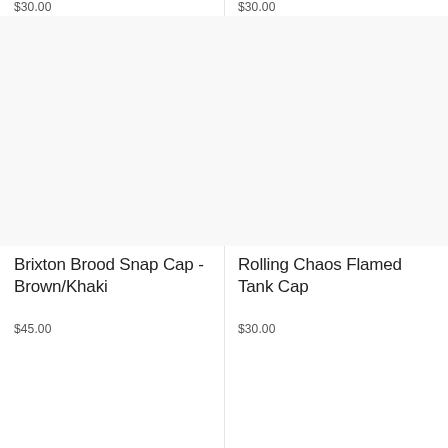$30.00
$30.00
Brixton Brood Snap Cap - Brown/Khaki
$45.00
Rolling Chaos Flamed Tank Cap
$30.00